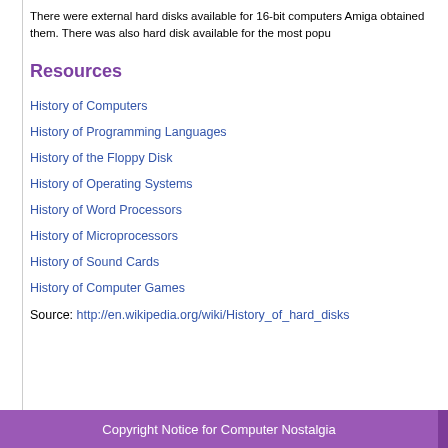There were external hard disks available for 16-bit computers Amiga obtained them. There was also hard disk available for the most popu
Resources
History of Computers
History of Programming Languages
History of the Floppy Disk
History of Operating Systems
History of Word Processors
History of Microprocessors
History of Sound Cards
History of Computer Games
Source: http://en.wikipedia.org/wiki/History_of_hard_disks
Copyright Notice for Computer Nostalgia